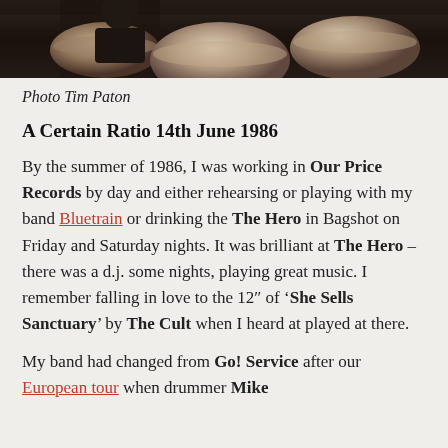[Figure (photo): Black and white photo of a drummer with drum kit, cropped showing the top portion]
Photo Tim Paton
A Certain Ratio 14th June 1986
By the summer of 1986, I was working in Our Price Records by day and either rehearsing or playing with my band Bluetrain or drinking the The Hero in Bagshot on Friday and Saturday nights. It was brilliant at The Hero – there was a d.j. some nights, playing great music. I remember falling in love to the 12" of 'She Sells Sanctuary' by The Cult when I heard at played at there.
My band had changed from Go! Service after our European tour when drummer Mike